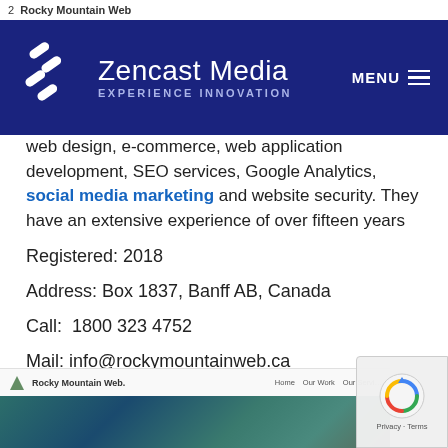2  Rocky Mountain Web
[Figure (logo): Zencast Media logo with tagline 'EXPERIENCE INNOVATION' on dark navy background, with MENU hamburger button]
web design, e-commerce, web application development, SEO services, Google Analytics, social media marketing and website security. They have an extensive experience of over fifteen years
Registered: 2018
Address: Box 1837, Banff AB, Canada
Call:  1800 323 4752
Mail: info@rockymountainweb.ca
[Figure (screenshot): Screenshot of Rocky Mountain Web website showing navigation bar and mountain landscape image]